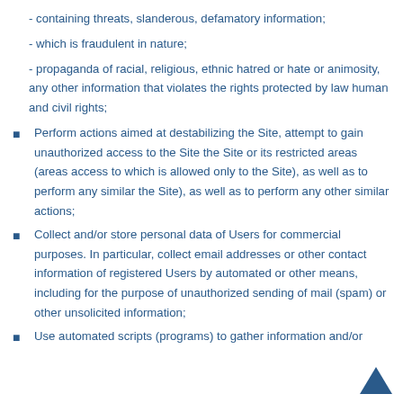- containing threats, slanderous, defamatory information;
- which is fraudulent in nature;
- propaganda of racial, religious, ethnic hatred or hate or animosity, any other information that violates the rights protected by law human and civil rights;
Perform actions aimed at destabilizing the Site, attempt to gain unauthorized access to the Site the Site or its restricted areas (areas access to which is allowed only to the Site), as well as to perform any similar the Site), as well as to perform any other similar actions;
Collect and/or store personal data of Users for commercial purposes. In particular, collect email addresses or other contact information of registered Users by automated or other means, including for the purpose of unauthorized sending of mail (spam) or other unsolicited information;
Use automated scripts (programs) to gather information and/or